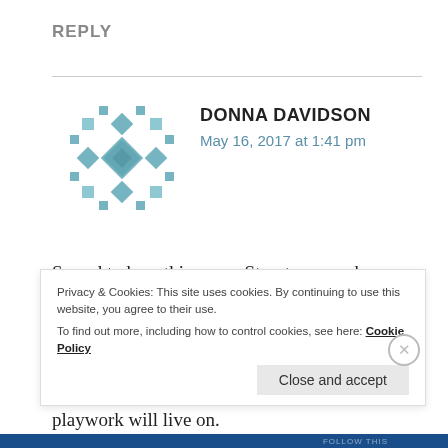REPLY
DONNA DAVIDSON
May 16, 2017 at 1:41 pm
[Figure (illustration): Geometric quilt-style avatar icon in teal/blue colors with diamond and square pattern]
So sad to hear this news. Stuart was such a lovely man who always took the time to encourage me, inspiring and challenging me to think deeper and change things for the better. A great loss but his huge contribution to play and playwork will live on.
Privacy & Cookies: This site uses cookies. By continuing to use this website, you agree to their use.
To find out more, including how to control cookies, see here: Cookie Policy
Close and accept